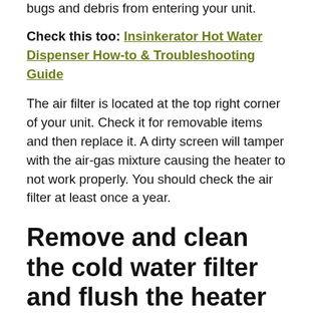bugs and debris from entering your unit.
Check this too: Insinkerator Hot Water Dispenser How-to & Troubleshooting Guide
The air filter is located at the top right corner of your unit. Check it for removable items and then replace it. A dirty screen will tamper with the air-gas mixture causing the heater to not work properly. You should check the air filter at least once a year.
Remove and clean the cold water filter and flush the heater with vinegar
This steps helps to remove any debris or lime scale buildup in your heater. To do this: